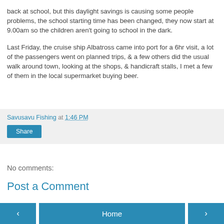back at school, but this daylight savings is causing some people problems, the school starting time has been changed, they now start at 9.00am so the children aren't going to school in the dark.
Last Friday, the cruise ship Albatross came into port for a 6hr visit, a lot of the passengers went on planned trips, & a few others did the usual walk around town, looking at the shops, & handicraft stalls, I met a few of them in the local supermarket buying beer.
Savusavu Fishing at 1:46 PM
Share
No comments:
Post a Comment
‹  Home  ›